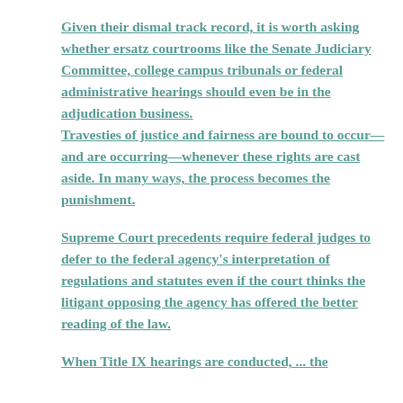Given their dismal track record, it is worth asking whether ersatz courtrooms like the Senate Judiciary Committee, college campus tribunals or federal administrative hearings should even be in the adjudication business. Travesties of justice and fairness are bound to occur—and are occurring—whenever these rights are cast aside. In many ways, the process becomes the punishment.
Supreme Court precedents require federal judges to defer to the federal agency's interpretation of regulations and statutes even if the court thinks the litigant opposing the agency has offered the better reading of the law.
When Title IX hearings are conducted, ... the